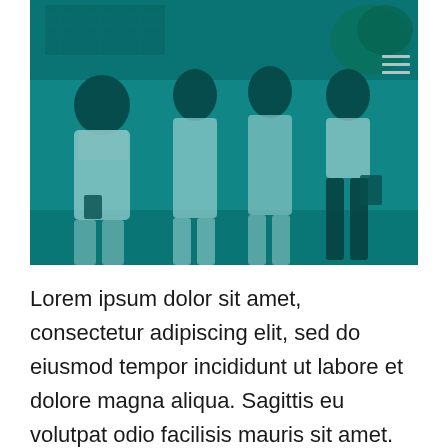[Figure (photo): A teal-tinted photograph of four men standing together outdoors in front of a building. They appear to be wearing light-colored shirts and one man on the right is wearing dark pants and holding a folder/book. There is a tree and building structure visible in the background. A hamburger menu icon is visible in the top right corner.]
Lorem ipsum dolor sit amet, consectetur adipiscing elit, sed do eiusmod tempor incididunt ut labore et dolore magna aliqua. Sagittis eu volutpat odio facilisis mauris sit amet.